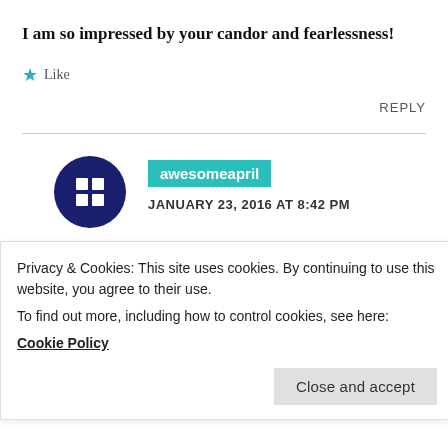I am so impressed by your candor and fearlessness!
★ Like
REPLY
[Figure (illustration): Dark navy blue avatar icon with a grid/window symbol, surrounded by arrow-like directional indicators pointing outward]
awesomeapril
JANUARY 23, 2016 AT 8:42 PM
Thanks! Being honest keeps me accountable to
Privacy & Cookies: This site uses cookies. By continuing to use this website, you agree to their use.
To find out more, including how to control cookies, see here:
Cookie Policy
Close and accept